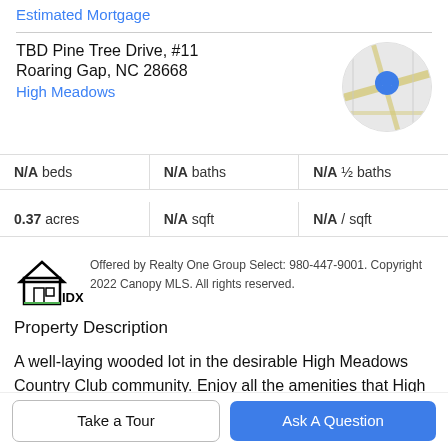Estimated Mortgage
TBD Pine Tree Drive, #11
Roaring Gap, NC 28668
High Meadows
[Figure (map): Circular map thumbnail showing road map with blue location pin marker]
| N/A beds | N/A baths | N/A ½ baths |
| 0.37 acres | N/A sqft | N/A / sqft |
[Figure (logo): IDX house logo with black house outline and IDX text]
Offered by Realty One Group Select: 980-447-9001. Copyright 2022 Canopy MLS. All rights reserved.
Property Description
A well-laying wooded lot in the desirable High Meadows Country Club community. Enjoy all the amenities that High
Meadows Country Club has to offer (with membership), a
Take a Tour
Ask A Question